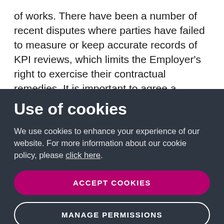of works. There have been a number of recent disputes where parties have failed to measure or keep accurate records of KPI reviews, which limits the Employer's right to exercise their contractual remedies. It is important to agree a comprehensive
Use of cookies
We use cookies to enhance your experience of our website. For more information about our cookie policy, please click here.
ACCEPT COOKIES
MANAGE PERMISSIONS